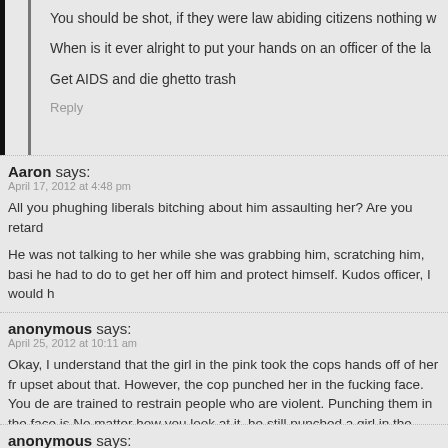You should be shot, if they were law abiding citizens nothing w
When is it ever alright to put your hands on an officer of the la
Get AIDS and die ghetto trash
Reply
Aaron says:
April 17, 2012 at 4:48 pm
All you phughing liberals bitching about him assaulting her? Are you retard
He was not talking to her while she was grabbing him, scratching him, basi he had to do to get her off him and protect himself. Kudos officer, I would h
Reply
anonymous says:
April 25, 2012 at 10:11 am
Okay, I understand that the girl in the pink took the cops hands off of her fr upset about that. However, the cop punched her in the fucking face. You de are trained to restrain people who are violent. Punching them in the face is No matter how you look at it, he still punched a girl in the face and that's w
Reply
anonymous says: